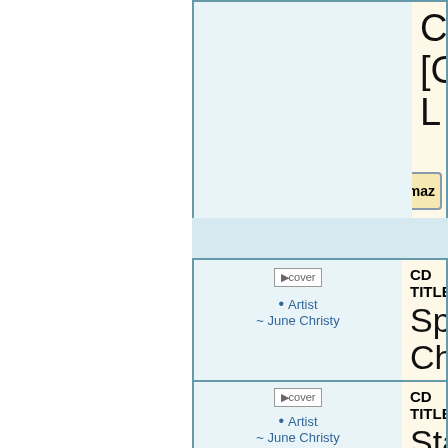[Figure (screenshot): Top partial product card (cut off) showing a buy from Amazon button and partial CD title text 'Christy [Great L...']
[Figure (screenshot): CD listing card with cover image placeholder, Artist bullet point '~ June Christy', CD TITLE label, and title beginning 'Spotlight Christy [Great L...' with Buy from Amazon button]
[Figure (screenshot): CD listing card with cover image placeholder, Artist bullet point '~ June Christy', CD TITLE label, and title beginning 'Standard [IMPOR...' — partially cut off at bottom]